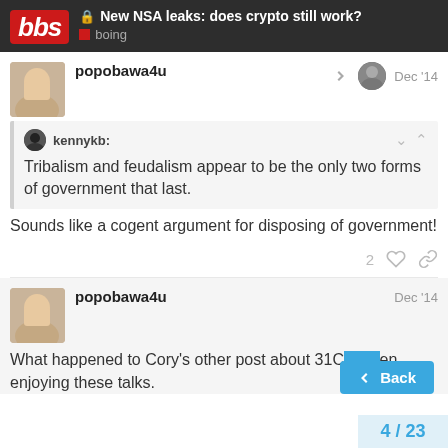bbs — New NSA leaks: does crypto still work? — boing
popobawa4u — Dec '14
kennykb: Tribalism and feudalism appear to be the only two forms of government that last.
Sounds like a cogent argument for disposing of government!
2
popobawa4u — Dec '14
What happened to Cory's other post about 31C... en enjoying these talks.
Back
4 / 23